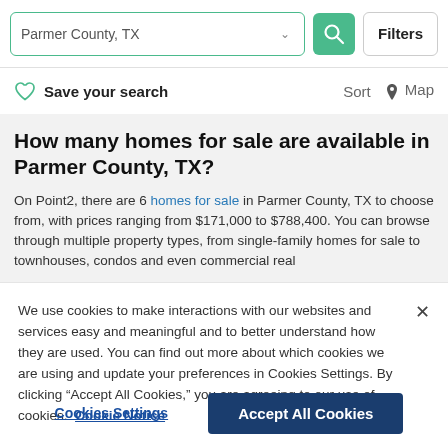[Figure (screenshot): Search bar with 'Parmer County, TX' input, dropdown chevron, green search button with magnifying glass icon, and 'Filters' button]
Save your search    Sort   Map
How many homes for sale are available in Parmer County, TX?
On Point2, there are 6 homes for sale in Parmer County, TX to choose from, with prices ranging from $171,000 to $788,400. You can browse through multiple property types, from single-family homes for sale to townhouses, condos and even commercial real estate in Parmer County, TX.
We use cookies to make interactions with our websites and services easy and meaningful and to better understand how they are used. You can find out more about which cookies we are using and update your preferences in Cookies Settings. By clicking "Accept All Cookies," you are agreeing to our use of cookies.  Cookie Notice
Cookies Settings    Accept All Cookies